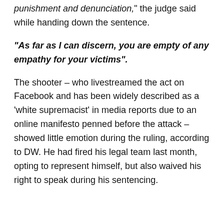punishment and denunciation," the judge said while handing down the sentence.
“As far as I can discern, you are empty of any empathy for your victims”.
The shooter – who livestreamed the act on Facebook and has been widely described as a ‘white supremacist’ in media reports due to an online manifesto penned before the attack – showed little emotion during the ruling, according to DW. He had fired his legal team last month, opting to represent himself, but also waived his right to speak during his sentencing.